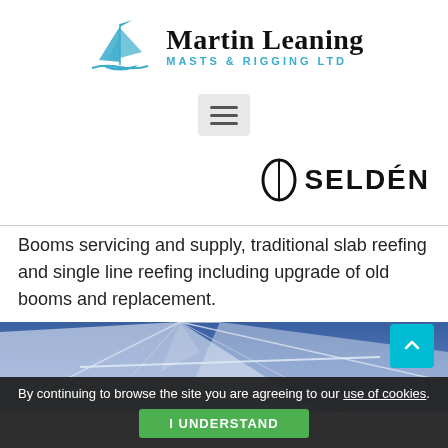[Figure (logo): Martin Leaning Masts & Rigging Ltd logo with sailboat icon and company name]
[Figure (logo): Seldén brand logo with oval icon and bold SELDÉN text]
Booms servicing and supply, traditional slab reefing and single line reefing including upgrade of old booms and replacement.
[Figure (photo): Close-up photo of sailing boat rigging, sails and masts against blue sky]
By continuing to browse the site you are agreeing to our use of cookies.
I UNDERSTAND